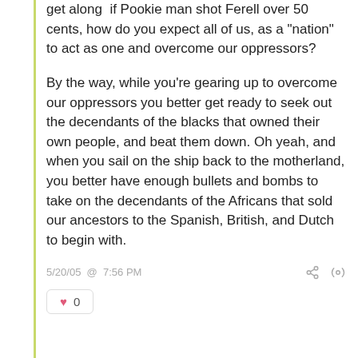get along  if Pookie man shot Ferell over 50 cents, how do you expect all of us, as a "nation" to act as one and overcome our oppressors?
By the way, while you're gearing up to overcome our oppressors you better get ready to seek out the decendants of the blacks that owned their own people, and beat them down. Oh yeah, and when you sail on the ship back to the motherland, you better have enough bullets and bombs to take on the decendants of the Africans that sold our ancestors to the Spanish, British, and Dutch to begin with.
5/20/05 @ 7:56 PM